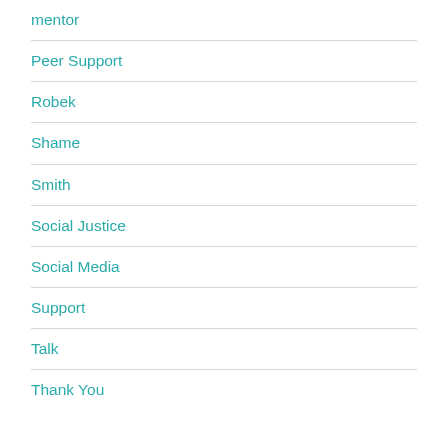mentor
Peer Support
Robek
Shame
Smith
Social Justice
Social Media
Support
Talk
Thank You